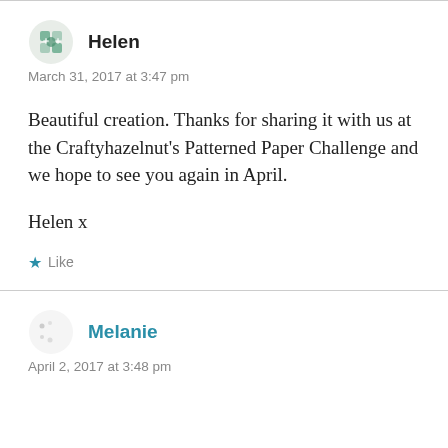Helen
March 31, 2017 at 3:47 pm
Beautiful creation. Thanks for sharing it with us at the Craftyhazelnut’s Patterned Paper Challenge and we hope to see you again in April.
Helen x
★ Like
Melanie
April 2, 2017 at 3:48 pm